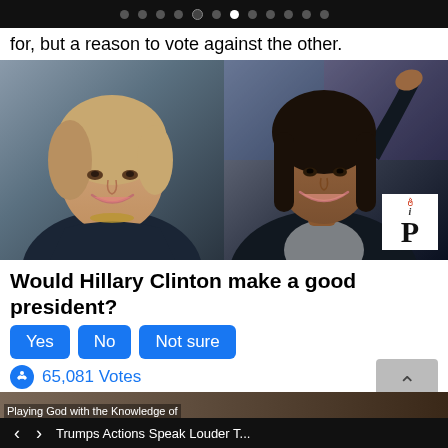• • • • • • • • • • • •
for, but a reason to vote against the other.
[Figure (photo): Side-by-side photos of Hillary Clinton (left, smiling, wearing dark jacket) and Kamala Harris (right, waving, wearing black blazer) with an iP logo watermark in the bottom right corner]
Would Hillary Clinton make a good president?
Yes
No
Not sure
65,081 Votes
< > Trumps Actions Speak Louder T...
Playing God with the Knowledge of